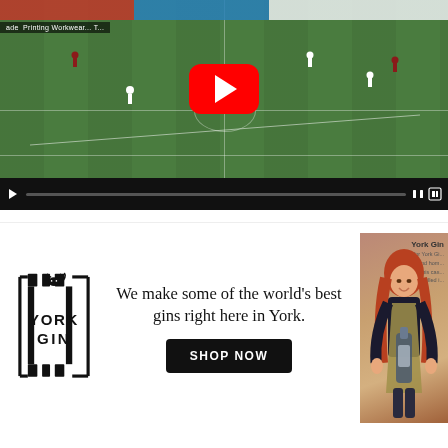[Figure (screenshot): YouTube video player showing a football/soccer match on a green field, with red YouTube play button overlay and black video controls bar at bottom. Ad banner visible top-left reading 'ade Printing Workwear... T...'.]
[Figure (illustration): York Gin advertisement banner. Left: York Gin logo (castle battlements with cat motif, text YORK GIN). Center: text 'We make some of the world’s best gins right here in York.' with black 'SHOP NOW' button. Right: photo of smiling red-haired woman holding gin bottle wearing apron, with York Gin text visible behind her.]